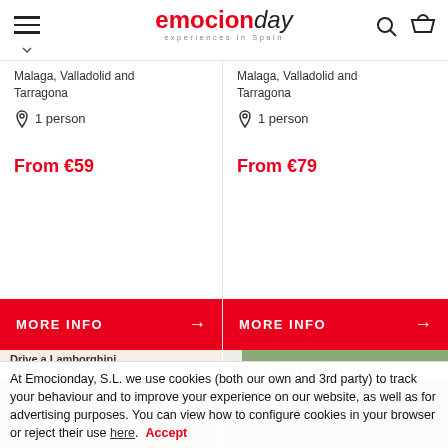emocionday — experiences in Spain
Malaga, Valladolid and Tarragona
1 person
From €59
Malaga, Valladolid and Tarragona
1 person
From €79
[Figure (photo): Orange Lamborghini Huracan on a racing circuit track]
[Figure (photo): White and black racing car number 05 with blue and green stripes on a circuit]
Drive a Lamborghini Hu...
Drive a Sport car Box Ce...
At Emocionday, S.L. we use cookies (both our own and 3rd party) to track your behaviour and to improve your experience on our website, as well as for advertising purposes. You can view how to configure cookies in your browser or reject their use here. Accept